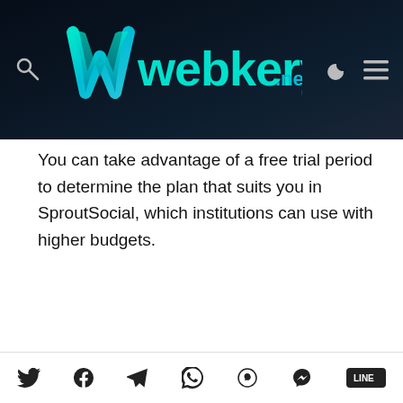webkery.net
You can take advantage of a free trial period to determine the plan that suits you in SproutSocial, which institutions can use with higher budgets.
[Figure (screenshot): SproutSocial Smart Inbox interface showing messages from Justin Welch, Hannah Scott, and Tom Pamford with social media management filters panel on the right]
Social share icons: Twitter, Facebook, Telegram, WhatsApp, Viber, Messenger, Line